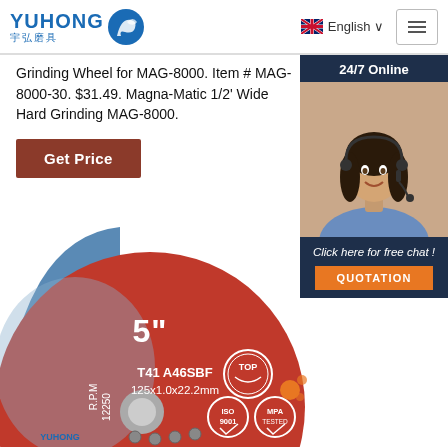[Figure (logo): YUHONG 宇弘磨具 logo with blue wave/bird icon]
English ∨
Grinding Wheel for MAG-8000. Item # MAG-8000-30. $31.49. Magna-Matic 1/2' Wide Hard Grinding MAG-8000.
Get Price
24/7 Online
[Figure (photo): Customer support woman with headset smiling]
Click here for free chat !
QUOTATION
[Figure (photo): Grinding wheel / cutting disc - red and blue, labeled 5 inch, T41 A46SBF, 125x1.0x22.2mm, R.P.M 12250, with ISO 9001 and MPA tested badges]